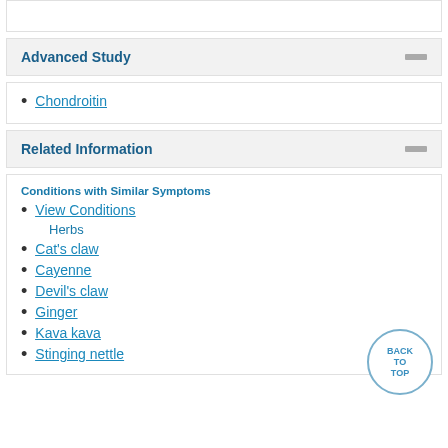Advanced Study
Chondroitin
Related Information
Conditions with Similar Symptoms
View Conditions
Herbs
Cat's claw
Cayenne
Devil's claw
Ginger
Kava kava
Stinging nettle